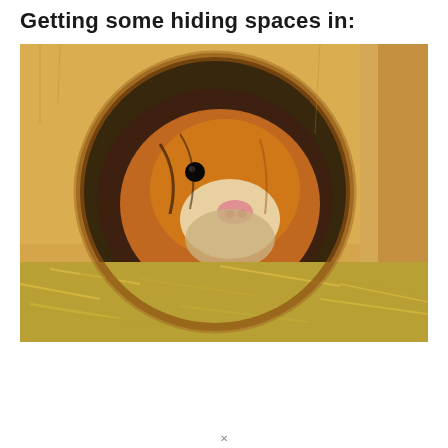Getting some hiding spaces in:
[Figure (photo): A guinea pig peering through a circular hole in a wooden hide/box, surrounded by hay/straw bedding. The guinea pig has brown, black, and white fur with a pink nose and is looking directly at the camera.]